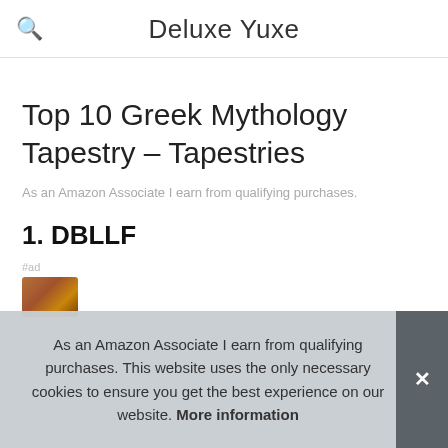Deluxe Yuxe
Top 10 Greek Mythology Tapestry – Tapestries
As an Amazon Associate I earn from qualifying purchases.
1. DBLLF
As an Amazon Associate I earn from qualifying purchases. This website uses the only necessary cookies to ensure you get the best experience on our website. More information